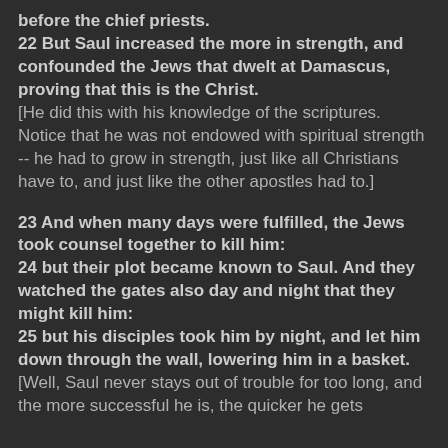before the chief priests. 22 But Saul increased the more in strength, and confounded the Jews that dwelt at Damascus, proving that this is the Christ. [He did this with his knowledge of the scriptures. Notice that he was not endowed with spiritual strength -- he had to grow in strength, just like all Christians have to, and just like the other apostles had to.] 23 And when many days were fulfilled, the Jews took counsel together to kill him: 24 but their plot became known to Saul. And they watched the gates also day and night that they might kill him: 25 but his disciples took him by night, and let him down through the wall, lowering him in a basket. [Well, Saul never stays out of trouble for too long, and the more successful he is, the quicker he gets into trouble. Note that the basket would have to]